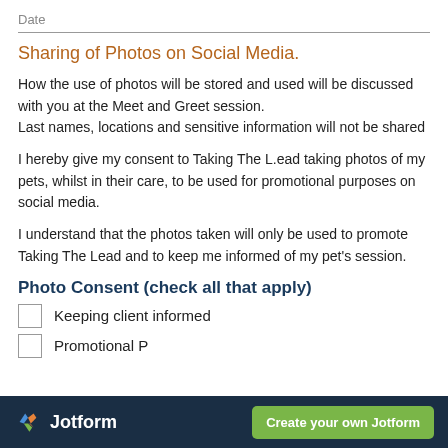Date
Sharing of Photos on Social Media.
How the use of photos will be stored and used will be discussed with you at the Meet and Greet session.
Last names, locations and sensitive information will not be shared
I hereby give my consent to Taking The L.ead taking photos of my pets, whilst in their care, to be used for promotional purposes on social media.
I understand that the photos taken will only be used to promote Taking The Lead and to keep me informed of my pet's session.
Photo Consent (check all that apply)
Keeping client informed
Promotional P...
Jotform | Create your own Jotform